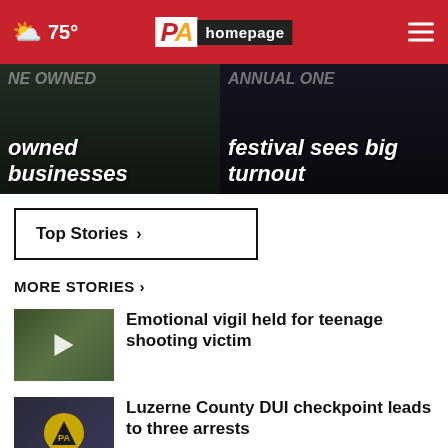75° PA homepage
[Figure (photo): Left hero image: dark background with text overlay reading 'owned businesses']
[Figure (photo): Right hero image: dark background with text overlay reading 'festival sees big turnout']
Top Stories ›
MORE STORIES ›
[Figure (photo): Thumbnail for emotional vigil story with play icon overlay]
Emotional vigil held for teenage shooting victim
[Figure (photo): Thumbnail for DUI checkpoint story showing police vehicle]
Luzerne County DUI checkpoint leads to three arrests
[Figure (photo): Thumbnail for This Week in Pennsylvania story with red circle icon and blue label]
This Week in Pennsylvania: Liz Wagenseller